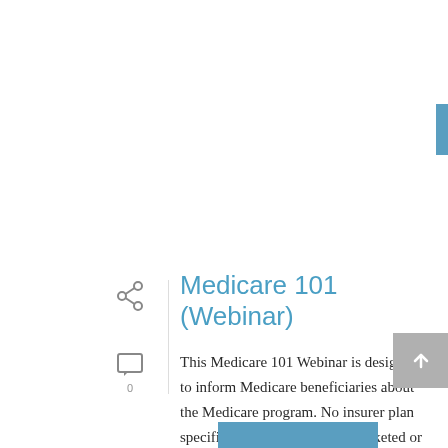[Figure (other): READ MORE button in steel blue]
Medicare 101 (Webinar)
This Medicare 101 Webinar is designed to inform Medicare beneficiaries about the Medicare program. No insurer plan specific information will be marketed or discussed. VibrantUSA is not connected [...]